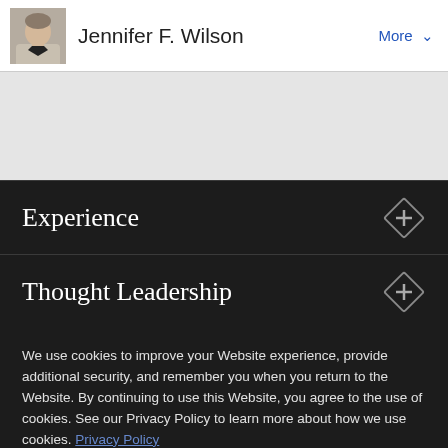[Figure (photo): Profile photo of Jennifer F. Wilson, a woman with light hair pulled back, wearing a black and beige outfit]
Jennifer F. Wilson
More
Experience
Thought Leadership
We use cookies to improve your Website experience, provide additional security, and remember you when you return to the Website. By continuing to use this Website, you agree to the use of cookies. See our Privacy Policy to learn more about how we use cookies. Privacy Policy
Cookies Settings
Accept